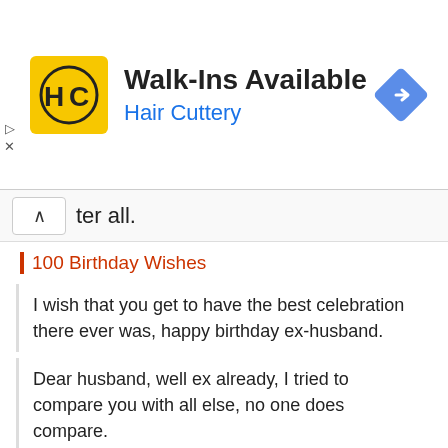[Figure (logo): Hair Cuttery advertisement banner with HC logo, 'Walk-Ins Available' heading, 'Hair Cuttery' subheading in blue, and a blue navigation diamond icon]
ter all.
100 Birthday Wishes
I wish that you get to have the best celebration there ever was, happy birthday ex-husband.
Dear husband, well ex already, I tried to compare you with all else, no one does compare.
Happy Birthday To My Wonderful